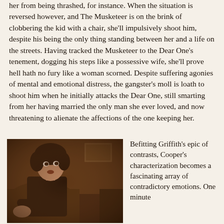her from being thrashed, for instance. When the situation is reversed however, and The Musketeer is on the brink of clobbering the kid with a chair, she'll impulsively shoot him, despite his being the only thing standing between her and a life on the streets. Having tracked the Musketeer to the Dear One's tenement, dogging his steps like a possessive wife, she'll prove hell hath no fury like a woman scorned. Despite suffering agonies of mental and emotional distress, the gangster's moll is loath to shoot him when he initially attacks the Dear One, still smarting from her having married the only man she ever loved, and now threatening to alienate the affections of the one keeping her.
[Figure (photo): Sepia-toned still from a silent film showing a young woman with dark curly hair seated in a chair, looking surprised or alarmed, wearing a dark dress]
Befitting Griffith's epic of contrasts, Cooper's characterization becomes a fascinating array of contradictory emotions. One minute